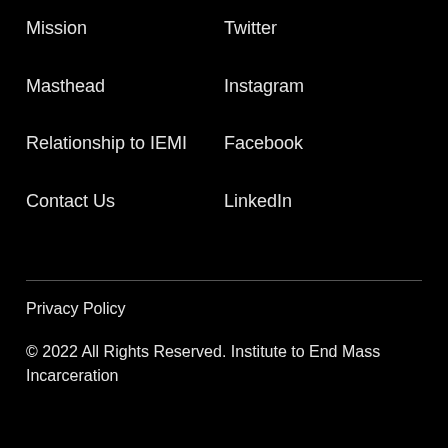Mission
Twitter
Masthead
Instagram
Relationship to IEMI
Facebook
Contact Us
LinkedIn
Privacy Policy
© 2022 All Rights Reserved. Institute to End Mass Incarceration